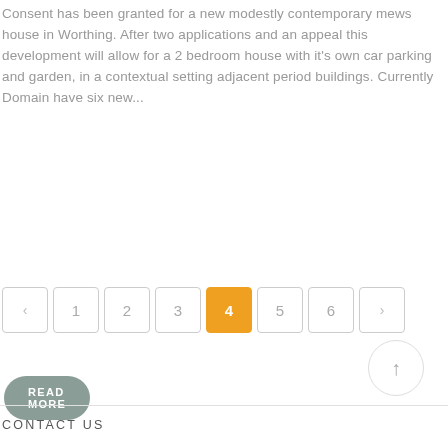Consent has been granted for a new modestly contemporary mews house in Worthing. After two applications and an appeal this development will allow for a 2 bedroom house with it's own car parking and garden, in a contextual setting adjacent period buildings. Currently Domain have six new...
READ MORE
< 1 2 3 4 5 6 >
CONTACT US